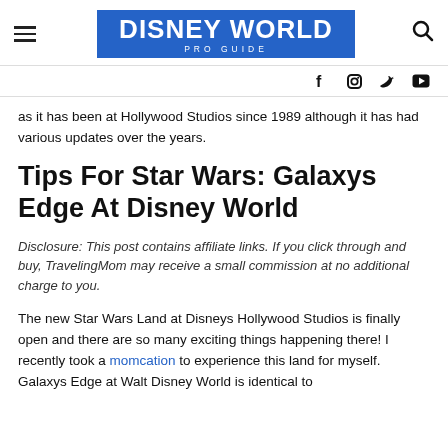DISNEY WORLD PRO GUIDE
as it has been at Hollywood Studios since 1989 although it has had various updates over the years.
Tips For Star Wars: Galaxys Edge At Disney World
Disclosure: This post contains affiliate links. If you click through and buy, TravelingMom may receive a small commission at no additional charge to you.
The new Star Wars Land at Disneys Hollywood Studios is finally open and there are so many exciting things happening there! I recently took a momcation to experience this land for myself. Galaxys Edge at Walt Disney World is identical to